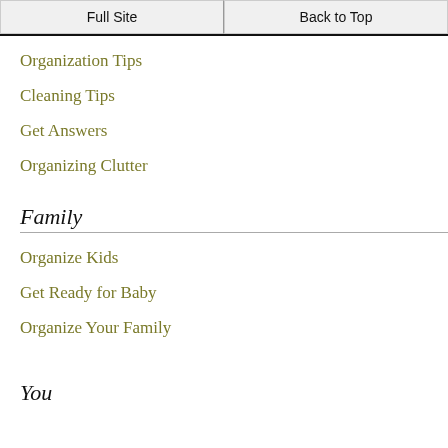Full Site | Back to Top
Organization Tips
Cleaning Tips
Get Answers
Organizing Clutter
Family
Organize Kids
Get Ready for Baby
Organize Your Family
You